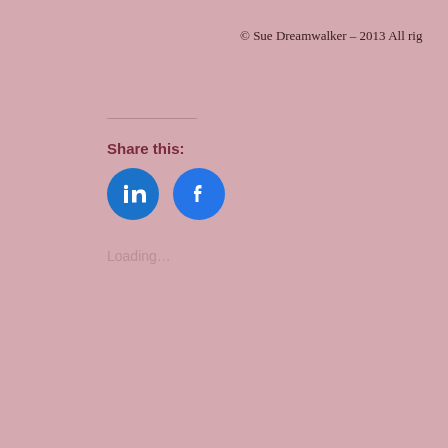© Sue Dreamwalker – 2013 All rig
Share this:
[Figure (other): LinkedIn and Facebook social share icon buttons (circular blue buttons with white icons)]
Loading...